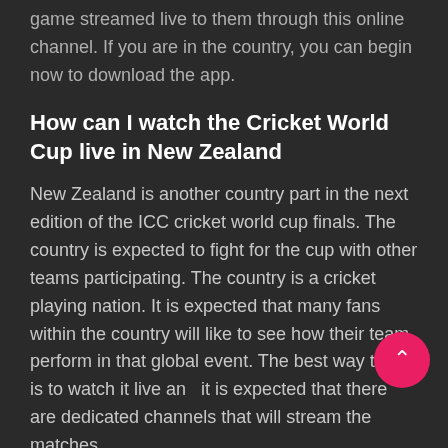game streamed live to them through this online channel. If you are in the country, you can begin now to download the app.
How can I watch the Cricket World Cup live in New Zealand
New Zealand is another country part in the next edition of the ICC cricket world cup finals. The country is expected to fight for the cup with other teams participating. The country is a cricket playing nation. It is expected that many fans within the country will like to see how their team perform in that global event. The best way to do is to watch it live and it is expected that there are dedicated channels that will stream the matches live to the people of Afghanistan